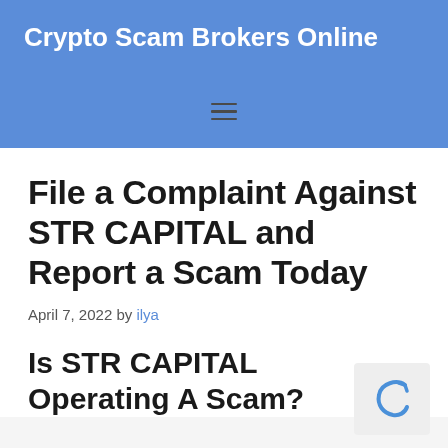Crypto Scam Brokers Online
File a Complaint Against STR CAPITAL and Report a Scam Today
April 7, 2022 by ilya
Is STR CAPITAL Operating A Scam?